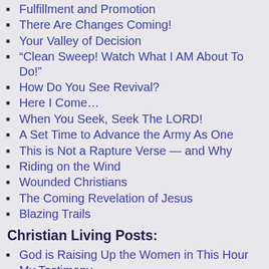Fulfillment and Promotion
There Are Changes Coming!
Your Valley of Decision
“Clean Sweep! Watch What I AM About To Do!”
How Do You See Revival?
Here I Come…
When You Seek, Seek The LORD!
A Set Time to Advance the Army As One
This is Not a Rapture Verse — and Why
Riding on the Wind
Wounded Christians
The Coming Revelation of Jesus
Blazing Trails
Christian Living Posts:
God is Raising Up the Women in This Hour
My Testimony
Updated: Keep Throwing out Handfuls of Purpose
Stop Looking for Life to Be Comfortable
Keep Your Boat Anchored
Prayer Posts: